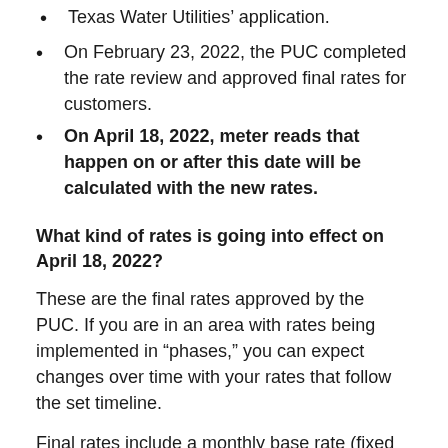Texas Water Utilities' application.
On February 23, 2022, the PUC completed the rate review and approved final rates for customers.
On April 18, 2022, meter reads that happen on or after this date will be calculated with the new rates.
What kind of rates is going into effect on April 18, 2022?
These are the final rates approved by the PUC. If you are in an area with rates being implemented in “phases,” you can expect changes over time with your rates that follow the set timeline.
Final rates include a monthly base rate (fixed rate) that covers the cost of infrastructure, a usage rate (variable rate) that covers the cost of treating